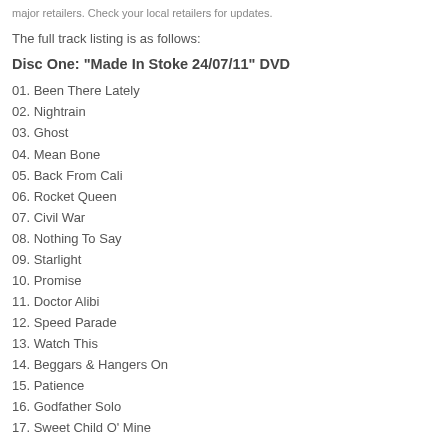major retailers. Check your local retailers for updates.
The full track listing is as follows:
Disc One: "Made In Stoke 24/07/11" DVD
01. Been There Lately
02. Nightrain
03. Ghost
04. Mean Bone
05. Back From Cali
06. Rocket Queen
07. Civil War
08. Nothing To Say
09. Starlight
10. Promise
11. Doctor Alibi
12. Speed Parade
13. Watch This
14. Beggars & Hangers On
15. Patience
16. Godfather Solo
17. Sweet Child O' Mine